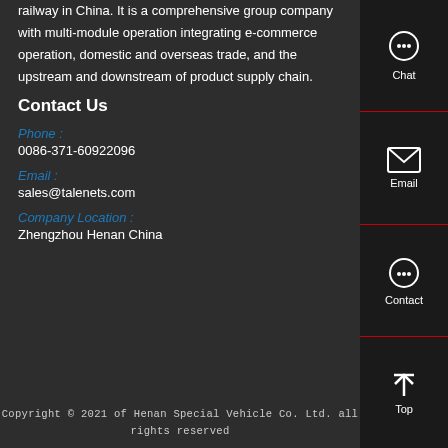railway in China. It is a comprehensive group company with multi-module operation integrating e-commerce operation, domestic and overseas trade, and the upstream and downstream of product supply chain.
Contact Us
Phone :
0086-371-60922096
Email :
sales@talenets.com
Company Location :
Zhengzhou Henan China
[Figure (infographic): Sidebar with Chat, Email, Contact, and Top icons on dark background with red dividers]
Copyright © 2021 of Henan Special Vehicle Co. Ltd. all rights reserved